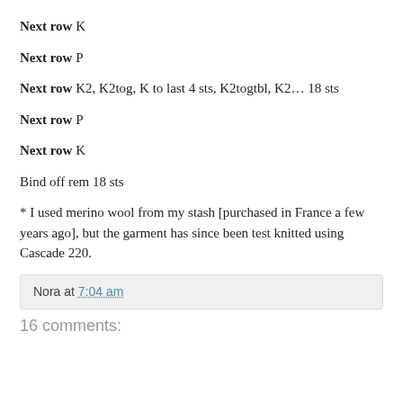Next row K
Next row P
Next row K2, K2tog, K to last 4 sts, K2togtbl, K2… 18 sts
Next row P
Next row K
Bind off rem 18 sts
* I used merino wool from my stash [purchased in France a few years ago], but the garment has since been test knitted using Cascade 220.
Nora at 7:04 am
16 comments: